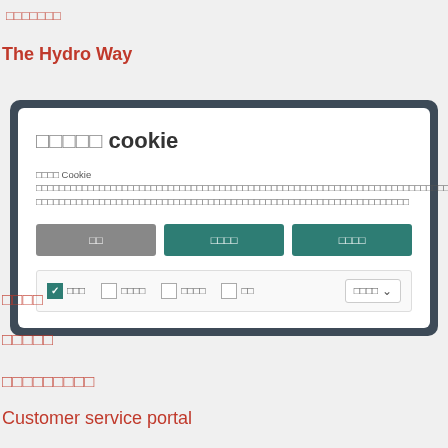□□□□□□□
The Hydro Way
[Figure (screenshot): Cookie consent modal dialog with title '□□□□□ cookie', body text in Japanese/CJK characters about cookies, three buttons (□□, □□□□, □□□□), and a row of checkboxes with options and a dropdown]
□□□□
□□□□□
□□□□□□□□□
Customer service portal